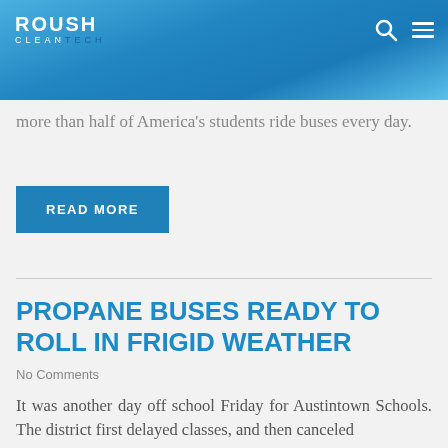ROUSH CLEANTECH
more than half of America's students ride buses every day.
READ MORE
PROPANE BUSES READY TO ROLL IN FRIGID WEATHER
No Comments
It was another day off school Friday for Austintown Schools. The district first delayed classes, and then canceled